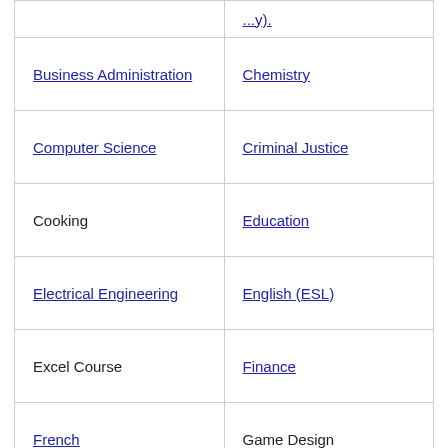| Column 1 | Column 2 |
| --- | --- |
| (partial top row) | ...y). |
| Business Administration | Chemistry |
| Computer Science | Criminal Justice |
| Cooking | Education |
| Electrical Engineering | English (ESL) |
| Excel Course | Finance |
| French | Game Design |
| Graphic Art | Health |
| Interior Design | Italian |
| Journalism | Law Enforcement |